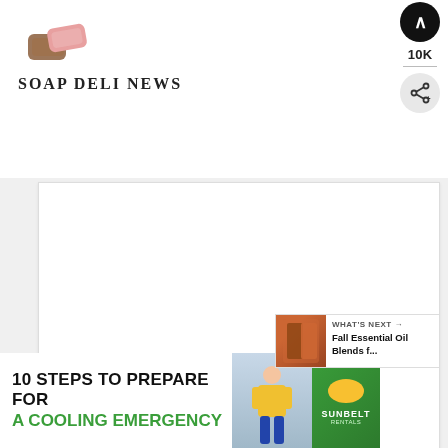Soap Deli News
[Figure (screenshot): Large empty white content box / image placeholder]
Tools
Digital scale
Non-aluminum heat safe containers
(partially visible, cut off)
[Figure (screenshot): Ad banner: 10 STEPS TO PREPARE FOR A COOLING EMERGENCY with worker image and Sunbelt Rentals logo]
[Figure (screenshot): What's Next overlay: Fall Essential Oil Blends f...]